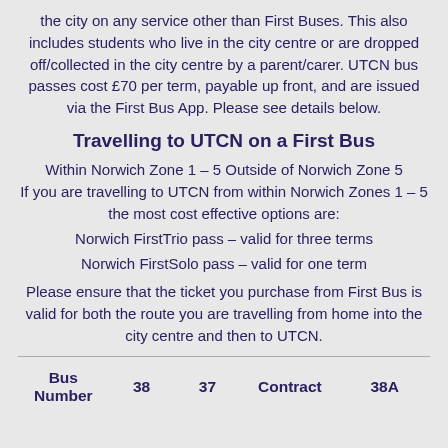the city on any service other than First Buses. This also includes students who live in the city centre or are dropped off/collected in the city centre by a parent/carer. UTCN bus passes cost £70 per term, payable up front, and are issued via the First Bus App. Please see details below.
Travelling to UTCN on a First Bus
Within Norwich Zone 1 – 5 Outside of Norwich Zone 5
If you are travelling to UTCN from within Norwich Zones 1 – 5 the most cost effective options are:
Norwich FirstTrio pass – valid for three terms
Norwich FirstSolo pass – valid for one term
Please ensure that the ticket you purchase from First Bus is valid for both the route you are travelling from home into the city centre and then to UTCN.
| Bus Number | 38 | 37 | Contract | 38A |
| --- | --- | --- | --- | --- |